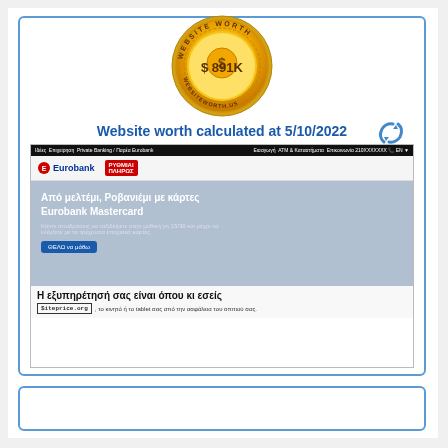[Figure (infographic): Gold medal/seal with text 'WEBSITE WORTH' around the edge and '$891K' in the center]
Website worth calculated at 5/10/2022
[Figure (screenshot): Screenshot of Eurobank website showing Greek text 'Από μελτέμι, Ροβανιέμι με κάρτες Eurobank Mastercard' and 'Η εξυπηρέτησή σας είναι όπου κι εσείς' with siteprice.org watermark]